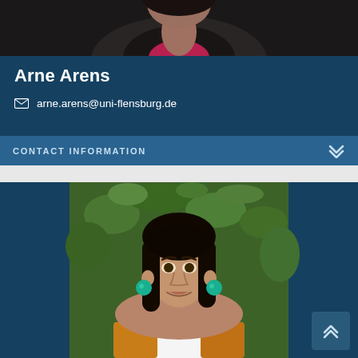[Figure (photo): Partial photo of a person (Arne Arens) showing torso in dark jacket with pink/magenta shirt, cropped at top of page]
Arne Arens
arne.arens@uni-flensburg.de
CONTACT INFORMATION
[Figure (photo): Photo of a young woman with long dark hair, teal/turquoise ball earrings, wearing a white shirt under a mustard yellow cardigan, smiling in front of green foliage]